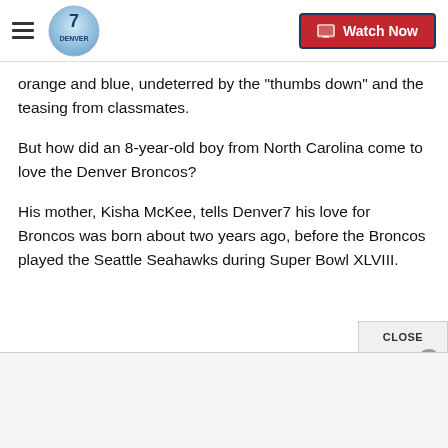Denver7 — Watch Now
orange and blue, undeterred by the "thumbs down" and the teasing from classmates.
But how did an 8-year-old boy from North Carolina come to love the Denver Broncos?
His mother, Kisha McKee, tells Denver7 his love for Broncos was born about two years ago, before the Broncos played the Seattle Seahawks during Super Bowl XLVIII.